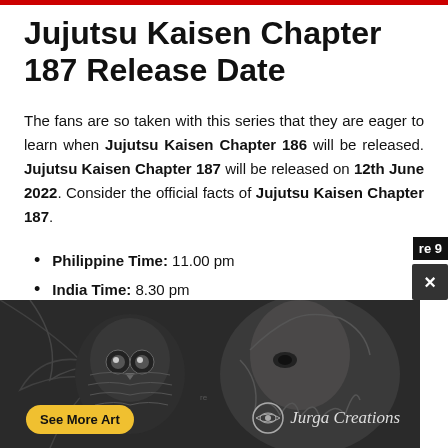Jujutsu Kaisen Chapter 187 Release Date
The fans are so taken with this series that they are eager to learn when Jujutsu Kaisen Chapter 186 will be released. Jujutsu Kaisen Chapter 187 will be released on 12th June 2022. Consider the official facts of Jujutsu Kaisen Chapter 187.
Philippine Time: 11.00 pm
India Time: 8.30 pm
British Time: 3.00 pm
(partially hidden)
(partially hidden)
(partially hidden)
(partially hidden)
[Figure (illustration): Advertisement overlay showing an artistic pencil drawing of an owl and a man's face with beard, with 'See More Art' button and 'Jurga Creations' logo]